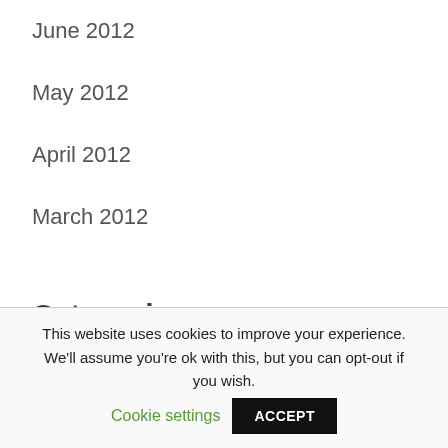June 2012
May 2012
April 2012
March 2012
Categories
Courses
Event
This website uses cookies to improve your experience. We'll assume you're ok with this, but you can opt-out if you wish. Cookie settings ACCEPT